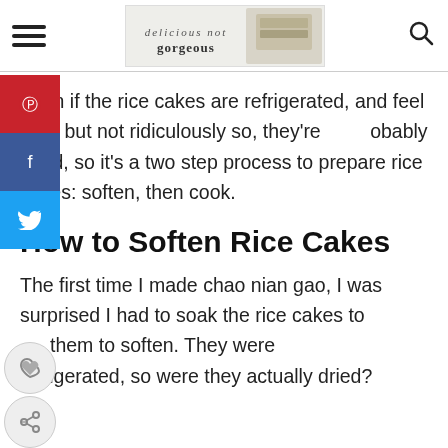delicious not gorgeous
Even if the rice cakes are refrigerated, and feel hard but not ridiculously so, they're probably dried, so it's a two step process to prepare rice cakes: soften, then cook.
How to Soften Rice Cakes
The first time I made chao nian gao, I was surprised I had to soak the rice cakes to get them to soften. They were refrigerated, so were they actually dried?